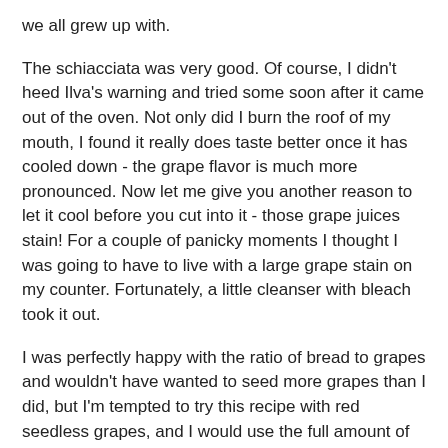we all grew up with.
The schiacciata was very good. Of course, I didn't heed Ilva's warning and tried some soon after it came out of the oven. Not only did I burn the roof of my mouth, I found it really does taste better once it has cooled down - the grape flavor is much more pronounced. Now let me give you another reason to let it cool before you cut into it - those grape juices stain! For a couple of panicky moments I thought I was going to have to live with a large grape stain on my counter. Fortunately, a little cleanser with bleach took it out.
I was perfectly happy with the ratio of bread to grapes and wouldn't have wanted to seed more grapes than I did, but I'm tempted to try this recipe with red seedless grapes, and I would use the full amount of grapes. Another time I would also cut back on the olive oil. The quarter cup used in the dough was fine, but the quarter cup drizzled over the grapes was too much - perhaps one or two tablespoons would be sufficient. All in all, though, this is a wonderful recipe and a nice introduction to Concord grapes!